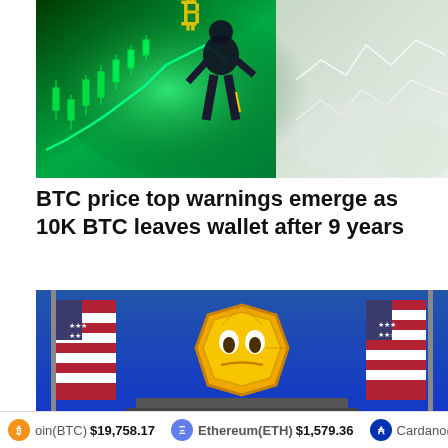[Figure (illustration): Crypto illustration showing a cartoon figure standing on a glowing green Bitcoin chart with candlestick patterns and a line graph. The figure wears dark clothing with a Bitcoin symbol above. Right side shows white chart lines on a lighter background.]
BTC price top warnings emerge as 10K BTC leaves wallet after 9 years
[Figure (illustration): Illustration of a cartoon golden coin character with a face sitting at a podium with US flags on either side, resembling a press conference setting with a blue background.]
oin(BTC) $19,758.17   Ethereum(ETH) $1,579.36   Cardano(A